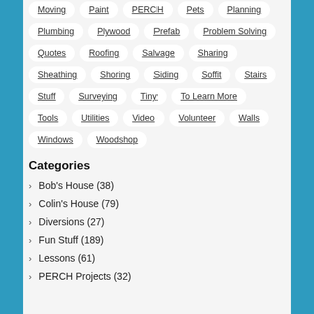Moving
Paint
PERCH
Pets
Planning
Plumbing
Plywood
Prefab
Problem Solving
Quotes
Roofing
Salvage
Sharing
Sheathing
Shoring
Siding
Soffit
Stairs
Stuff
Surveying
Tiny
To Learn More
Tools
Utilities
Video
Volunteer
Walls
Windows
Woodshop
Categories
Bob's House (38)
Colin's House (79)
Diversions (27)
Fun Stuff (189)
Lessons (61)
PERCH Projects (32)